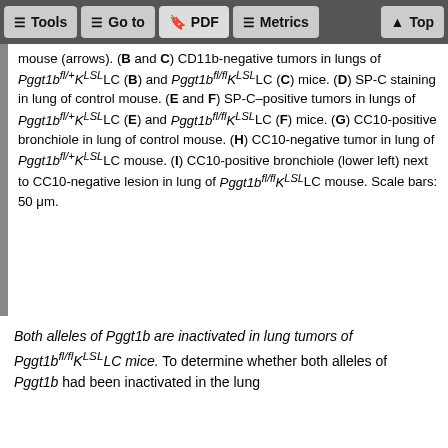Tools  Go to  PDF  Metrics  Top
mouse (arrows). (B and C) CD11b-negative tumors in lungs of Pggt1b^(fl/+)K^LSL LC (B) and Pggt1b^(fl/fl)K^LSL LC (C) mice. (D) SP-C staining in lung of control mouse. (E and F) SP-C–positive tumors in lungs of Pggt1b^(fl/+)K^LSL LC (E) and Pggt1b^(fl/fl)K^LSL LC (F) mice. (G) CC10-positive bronchiole in lung of control mouse. (H) CC10-negative tumor in lung of Pggt1b^(fl/+)K^LSL LC mouse. (I) CC10-positive bronchiole (lower left) next to CC10-negative lesion in lung of Pggt1b^(fl/fl)K^LSL LC mouse. Scale bars: 50 μm.
Both alleles of Pggt1b are inactivated in lung tumors of Pggt1b^(fl/fl)K^LSL LC mice. To determine whether both alleles of Pggt1b had been inactivated in the lung